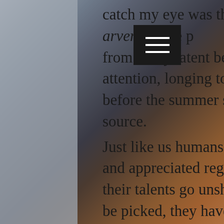catch my eye was this wild calendula (Calendula arvensis) the p[…]ange blossoms bursting forth from every latent bed, practically shrieking for attention, longing to be utilized for a good purpose before the summer sun burns their medicine back to source.
Just like us humans, plants can get lonely if not seen and appreciated regularly, they can feel unfulfilled if their talents go unshared.  Some plants don't want to be picked, they have a purpose to fulfill right where they are.  But some plants need our loving hands to unlock their magic.  And if your senses and imagination are wide open enough, you can feel them reaching out for your touch; you can hear their silent voices pleading for a deeper connection with you.